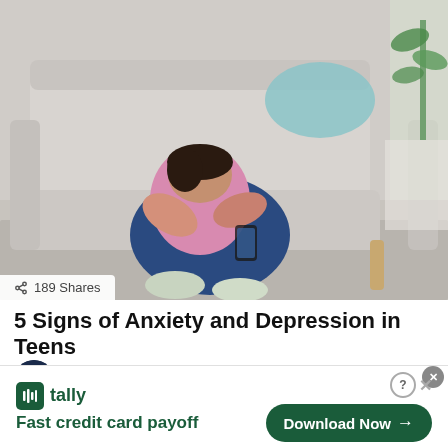[Figure (photo): A teenager in a pink shirt and blue jeans sitting on the floor hugging their knees, with head down, leaning against a grey sofa. A grey rug, plant, and cushion visible in background.]
189 Shares
5 Signs of Anxiety and Depression in Teens
by Chris Turn
2 months ago
[Figure (infographic): Tally advertisement banner. Logo with green icon and 'tally' text. Tagline: 'Fast credit card payoff'. Green 'Download Now' button with arrow. Close controls in top right.]